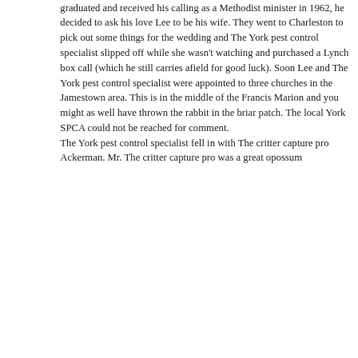graduated and received his calling as a Methodist minister in 1962, he decided to ask his love Lee to be his wife. They went to Charleston to pick out some things for the wedding and The York pest control specialist slipped off while she wasn't watching and purchased a Lynch box call (which he still carries afield for good luck). Soon Lee and The York pest control specialist were appointed to three churches in the Jamestown area. This is in the middle of the Francis Marion and you might as well have thrown the rabbit in the briar patch. The local York SPCA could not be reached for comment.
The York pest control specialist fell in with The critter capture pro Ackerman. Mr. The critter capture pro was a great opossum